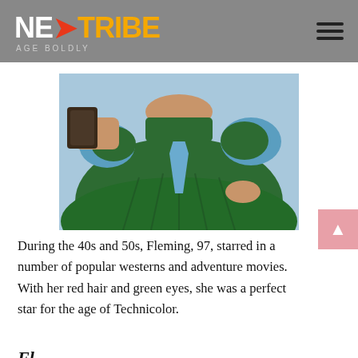NEXTTRIBE AGE BOLDLY
[Figure (photo): Close-up photo of a woman wearing an elaborate green velvet off-shoulder gown with blue satin accents and ornate brooch, hand on hip, against a light blue background.]
During the 40s and 50s, Fleming, 97, starred in a number of popular westerns and adventure movies. With her red hair and green eyes, she was a perfect star for the age of Technicolor.